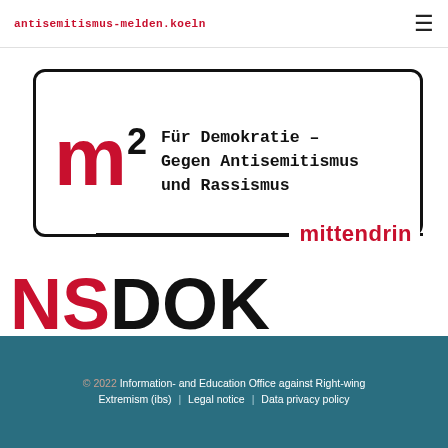antisemitismus-melden.koeln
[Figure (logo): m2 mittendrin logo — Für Demokratie – Gegen Antisemitismus und Rassismus]
[Figure (logo): NSDOK — NS-Dokumentationszentrum der Stadt Köln logo]
© 2022 Information- and Education Office against Right-wing Extremism (ibs) | Legal notice | Data privacy policy